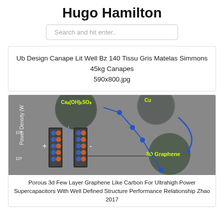Hugo Hamilton
Search and hit enter..
Ub Design Canape Lit Well Bz 140 Tissu Gris Matelas Simmons 45kg Canapes
590x800.jpg
[Figure (photo): Scientific diagram of a supercapacitor with 3D graphene electrode material. Shows a capacitor cross-section with + and - charges, a dashed separator, and microscopy images of 3D graphene material connected by blue arrows. Y-axis label: Power Density (W ...). Y-axis values: 10^3 and 10^4 visible.]
Porous 3d Few Layer Graphene Like Carbon For Ultrahigh Power Supercapacitors With Well Defined Structure Performance Relationship Zhao 2017